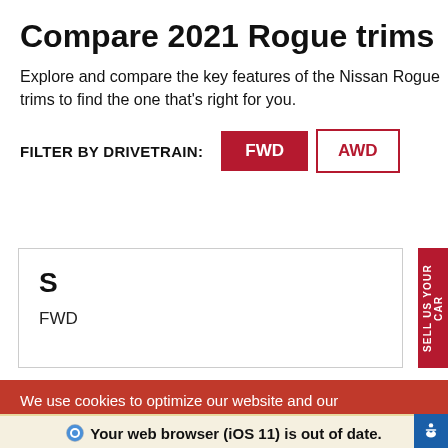Compare 2021 Rogue trims
Explore and compare the key features of the Nissan Rogue trims to find the one that's right for you.
FILTER BY DRIVETRAIN: FWD AWD
S
FWD
SELL US YOUR CAR
We use cookies to optimize our website and our
Your web browser (iOS 11) is out of date. Update your browser for more security, speed and the best experience on this site.
Update browser  Ignore